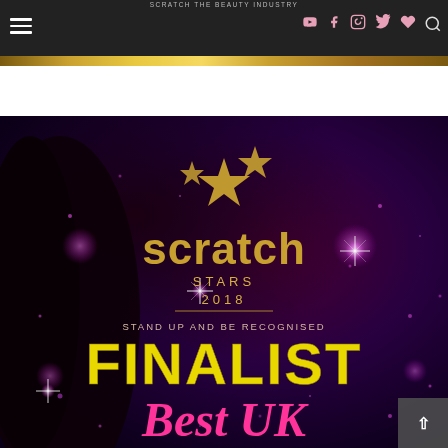SCRATCH STARS BEAUTY AWARDS — navigation bar with hamburger menu and social icons (YouTube, Facebook, Instagram, Twitter, Wishlist) and search
[Figure (illustration): Gold glitter/foil decorative strip banner]
[Figure (photo): Scratch Stars 2018 awards promotional image on dark purple/maroon background with gold stars, text: 'scratch STARS 2018 STAND UP AND BE RECOGNISED FINALIST Best UK']